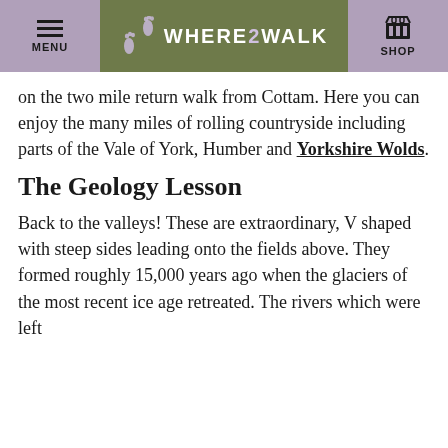MENU | WHERE 2 WALK | SHOP
on the two mile return walk from Cottam. Here you can enjoy the many miles of rolling countryside including parts of the Vale of York, Humber and Yorkshire Wolds.
The Geology Lesson
Back to the valleys! These are extraordinary, V shaped with steep sides leading onto the fields above. They formed roughly 15,000 years ago when the glaciers of the most recent ice age retreated. The rivers which were left